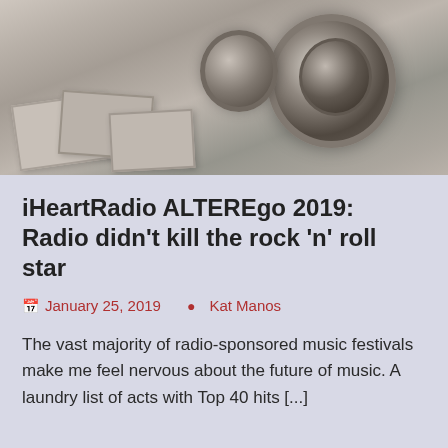[Figure (photo): Black and white photo of camera lenses and photographs scattered on a surface]
iHeartRadio ALTEREgo 2019: Radio didn't kill the rock 'n' roll star
January 25, 2019   Kat Manos
The vast majority of radio-sponsored music festivals make me feel nervous about the future of music. A laundry list of acts with Top 40 hits [...]